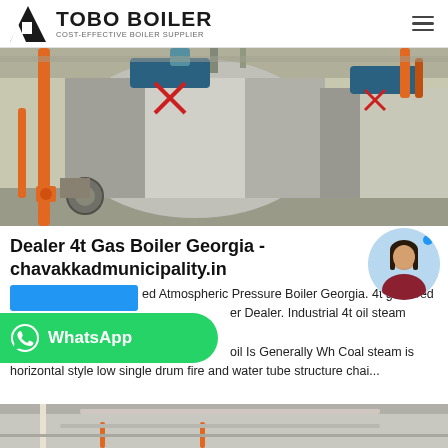TOBO BOILER — COST-EFFECTIVE BOILER SUPPLIER
[Figure (photo): Industrial boilers in a facility — large stainless steel cylindrical boilers with orange piping, blue burner heads, in a warehouse/factory setting.]
Dealer 4t Gas Boiler Georgia - chavakkadmunicipality.in
[Figure (photo): Chat avatar: young Asian woman with long dark hair, circular profile photo on light blue background with blue dot indicator.]
ed Atmospheric Pressure Boiler Georgia. 4t gas fired er Dealer. Industrial 4t oil steam boiler oil Is Generally Wh Coal steam is horizontal style low single drum fire and water tube structure chai...
[Figure (photo): Bottom strip showing industrial facility interior with pipes and equipment.]